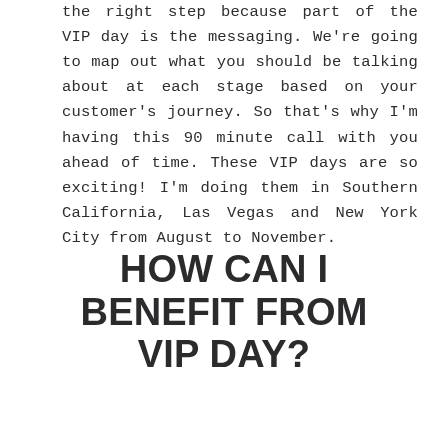the right step because part of the VIP day is the messaging. We're going to map out what you should be talking about at each stage based on your customer's journey. So that's why I'm having this 90 minute call with you ahead of time. These VIP days are so exciting! I'm doing them in Southern California, Las Vegas and New York City from August to November.
HOW CAN I BENEFIT FROM VIP DAY?